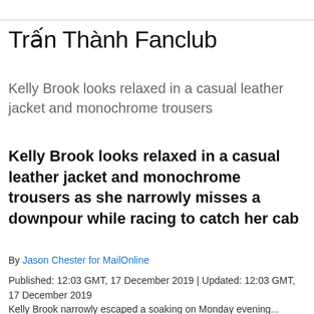Trấn Thành Fanclub
Kelly Brook looks relaxed in a casual leather jacket and monochrome trousers
Kelly Brook looks relaxed in a casual leather jacket and monochrome trousers as she narrowly misses a downpour while racing to catch her cab
By Jason Chester for MailOnline
Published: 12:03 GMT, 17 December 2019 | Updated: 12:03 GMT, 17 December 2019
Kelly Brook narrowly escaped a soaking on Monday evening...